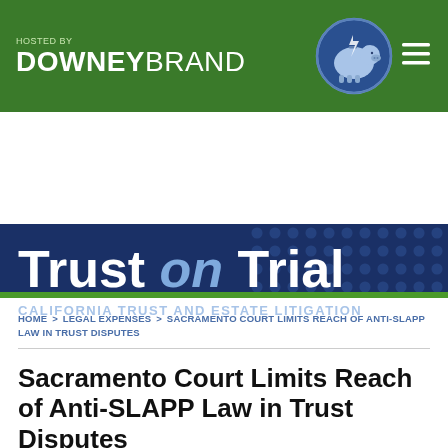[Figure (logo): Downey Brand law firm header with hosted by text, piggy bank logo, and hamburger menu on green background]
[Figure (logo): Trust on Trial blog banner with blue background and dot pattern, subtitle California Trust and Estate Litigation]
HOME > LEGAL EXPENSES > SACRAMENTO COURT LIMITS REACH OF ANTI-SLAPP LAW IN TRUST DISPUTES
Sacramento Court Limits Reach of Anti-SLAPP Law in Trust Disputes
By Jeffrey S. Calvin on October 17, 2016